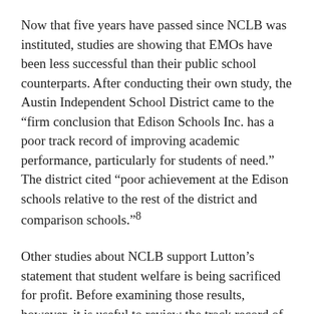Now that five years have passed since NCLB was instituted, studies are showing that EMOs have been less successful than their public school counterparts. After conducting their own study, the Austin Independent School District came to the “firm conclusion that Edison Schools Inc. has a poor track record of improving academic performance, particularly for students of need.” The district cited “poor achievement at the Edison schools relative to the rest of the district and comparison schools.”⁸
Other studies about NCLB support Lutton’s statement that student welfare is being sacrificed for profit. Before examining those results, however, it is useful to review the track record of norm-referenced tests in general. Many cognitive scientists have reiterated the fact that the only thing measured by intelligence and standardized tests is how well a subject performs on